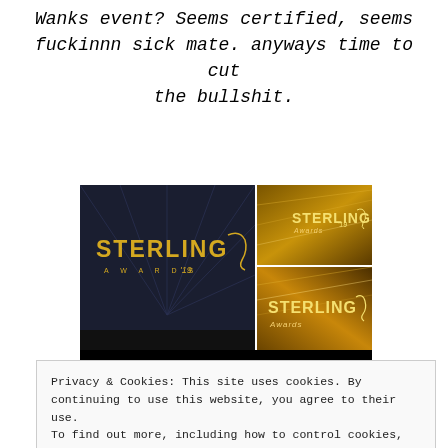Wanks event? Seems certified, seems fuckinnn sick mate. anyways time to cut the bullshit.
[Figure (photo): Collage of Sterling Awards '19 event branding screenshots: large left image showing 'STERLING AWARDS '19' logo in gold on dark background, top-right and bottom-right showing similar Sterling Awards branding on golden bokeh background]
Privacy & Cookies: This site uses cookies. By continuing to use this website, you agree to their use. To find out more, including how to control cookies, see here: Cookie Policy
Close and accept
Advertisements